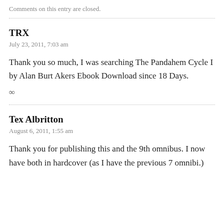Comments on this entry are closed.
TRX
July 23, 2011, 7:03 am
Thank you so much, I was searching The Pandahem Cycle I by Alan Burt Akers Ebook Download since 18 Days.
∞
Tex Albritton
August 6, 2011, 1:55 am
Thank you for publishing this and the 9th omnibus. I now have both in hardcover (as I have the previous 7 omnibi.)